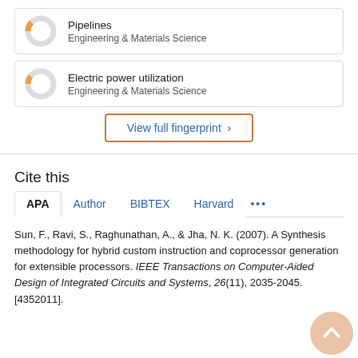[Figure (donut-chart): Donut chart icon for Pipelines with orange segment, approximately 10-15% fill]
Pipelines
Engineering & Materials Science
[Figure (donut-chart): Donut chart icon for Electric power utilization with orange segment, approximately 10-15% fill]
Electric power utilization
Engineering & Materials Science
View full fingerprint >
Cite this
APA  Author  BIBTEX  Harvard  ...
Sun, F., Ravi, S., Raghunathan, A., & Jha, N. K. (2007). A Synthesis methodology for hybrid custom instruction and coprocessor generation for extensible processors. IEEE Transactions on Computer-Aided Design of Integrated Circuits and Systems, 26(11), 2035-2045. [4352011].